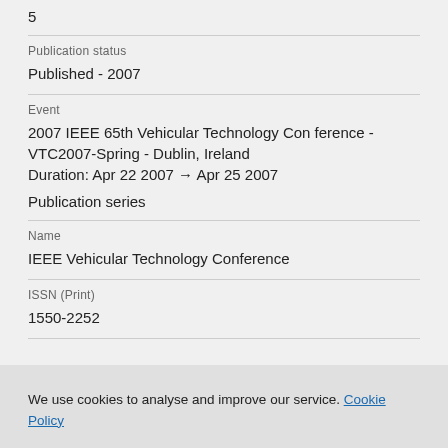5
Publication status
Published - 2007
Event
2007 IEEE 65th Vehicular Technology Conference - VTC2007-Spring - Dublin, Ireland
Duration: Apr 22 2007 → Apr 25 2007
Publication series
Name
IEEE Vehicular Technology Conference
ISSN (Print)
1550-2252
We use cookies to analyse and improve our service. Cookie Policy